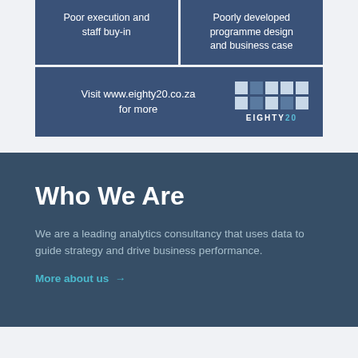[Figure (infographic): Two blue grid cells: 'Poor execution and staff buy-in' and 'Poorly developed programme design and business case', followed by a bottom row with 'Visit www.eighty20.co.za for more' and the Eighty20 logo grid]
Who We Are
We are a leading analytics consultancy that uses data to guide strategy and drive business performance.
More about us →